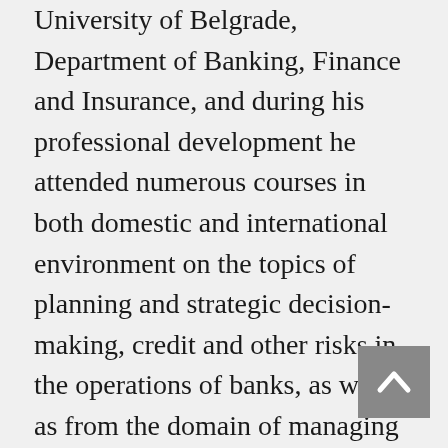University of Belgrade, Department of Banking, Finance and Insurance, and during his professional development he attended numerous courses in both domestic and international environment on the topics of planning and strategic decision-making, credit and other risks in the operations of banks, as well as from the domain of managing projects, teams, quality, changes, etc.
During his career in banking, Mr Vasić was, inter alia, professionally engaged in general business related operational support; he dealt with tasks related to coordination and control of branch office operations; he worked on strategic planning and project management; he was a